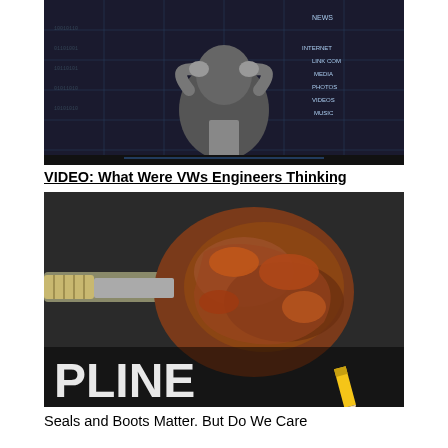[Figure (photo): Photo of a stressed man in a suit holding his head in his hands, surrounded by digital/network interface graphics overlaid on a dark background. Text overlays include: NEWS, INTERNET, LINK, COM, MEDIA, PHOTOS, VIDEOS, MUSIC, and binary code digits.]
VIDEO: What Were VWs Engineers Thinking
[Figure (photo): Photo of a heavily rusted mechanical component (appears to be an axle or CV joint) with text overlay at the bottom reading 'PLINE' in large white letters and partially showing more text. A pencil is visible at the bottom right.]
Seals and Boots Matter. But Do We Care